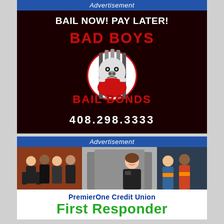Advertisement
[Figure (logo): Bad Boys Bail Bonds advertisement on dark background. Text: BAIL NOW! PAY LATER! with Bad Boys Bail Bonds logo (gorilla behind bars mascot) and phone number 408.298.3333]
Advertisement
[Figure (photo): Photo of first responders including firefighters, paramedics, and emergency workers]
PremierOne Credit Union
First Responder